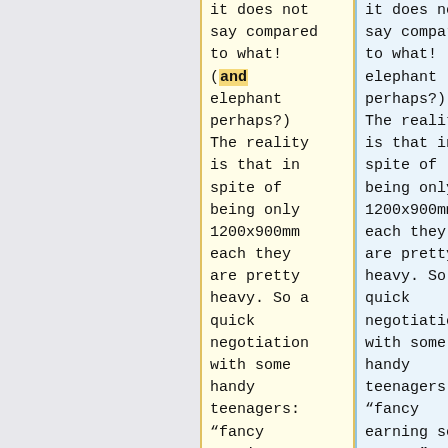it does not say compared to what! (and elephant perhaps?) The reality is that in spite of being only 1200x900mm each they are pretty heavy. So a quick negotiation with some handy teenagers: “fancy earning some money?”, a
it does not say compared to what! (an elephant perhaps?) The reality is that in spite of being only 1200x900mm each they are pretty heavy. So a quick negotiation with some handy teenagers: “fancy earning some money?”, a rate of 50p